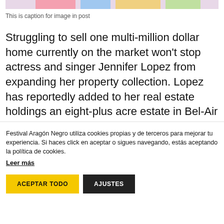[Figure (photo): Partial top edge of a photo, likely showing colorful items]
This is caption for image in post
Struggling to sell one multi-million dollar home currently on the market won't stop actress and singer Jennifer Lopez from expanding her property collection. Lopez has reportedly added to her real estate holdings an eight-plus acre estate in Bel-Air anchored by a multi-level mansion.
Festival Aragón Negro utiliza cookies propias y de terceros para mejorar tu experiencia. Si haces click en aceptar o sigues navegando, estás aceptando la política de cookies.
Leer más
ACEPTAR TODO
AJUSTES